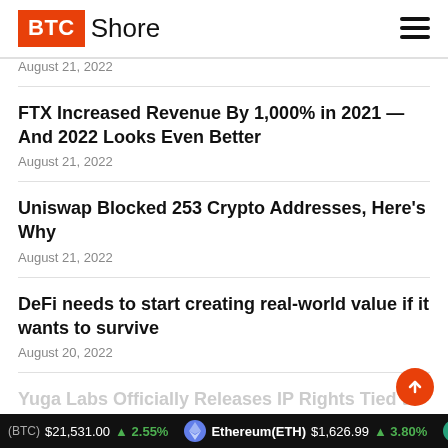BTC Shore
August 21, 2022
FTX Increased Revenue By 1,000% in 2021 —And 2022 Looks Even Better
August 21, 2022
Uniswap Blocked 253 Crypto Addresses, Here's Why
August 21, 2022
DeFi needs to start creating real-world value if it wants to survive
August 20, 2022
Yuga Labs Officially Releases IP Rights Tied to Cryptopunk
(BTC) $21,531.00 ↑ 2.55% Ethereum(ETH) $1,626.99 ↑ 3.80%